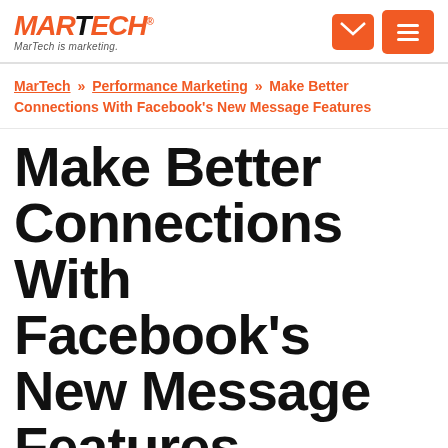MARTECH® MarTech is marketing.
MarTech » Performance Marketing » Make Better Connections With Facebook's New Message Features
Make Better Connections With Facebook's New Message Features
Your customers are reaching out to you. Are you ignoring them? Columnist Alison